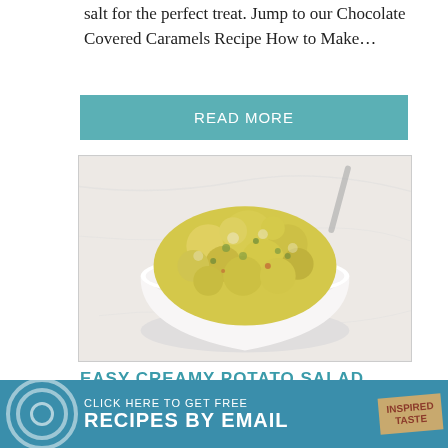salt for the perfect treat. Jump to our Chocolate Covered Caramels Recipe How to Make…
READ MORE
[Figure (photo): A white bowl heaped with creamy yellow potato salad on a marble surface]
EASY CREAMY POTATO SALAD
Hands down, this is my favorite creamy
[Figure (infographic): Teal advertisement banner: CLICK HERE TO GET FREE RECIPES BY EMAIL with Inspired Taste badge]